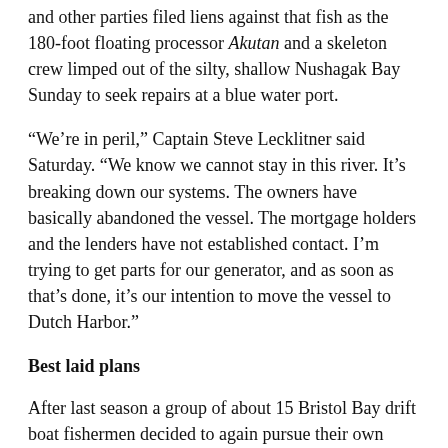and other parties filed liens against that fish as the 180-foot floating processor Akutan and a skeleton crew limped out of the silty, shallow Nushagak Bay Sunday to seek repairs at a blue water port.
“We’re in peril,” Captain Steve Lecklitner said Saturday. “We know we cannot stay in this river. It’s breaking down our systems. The owners have basically abandoned the vessel. The mortgage holders and the lenders have not established contact. I’m trying to get parts for our generator, and as soon as that’s done, it’s our intention to move the vessel to Dutch Harbor.”
Best laid plans
After last season a group of about 15 Bristol Bay drift boat fishermen decided to again pursue their own market. These fishing families are members of an Old Believer community in Homer and are commonly, and not pejoratively, referred to as the “Russians” in Bristol